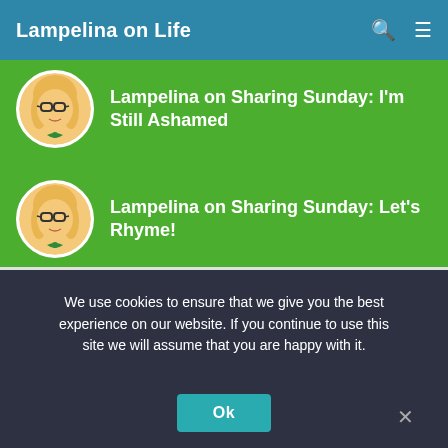Lampelina on Life
Lampelina on Sharing Sunday: I'm Still Ashamed
Lampelina on Sharing Sunday: Let's Rhyme!
Lampelina on Sharing Sunday: Let's Rhyme!
We use cookies to ensure that we give you the best experience on our website. If you continue to use this site we will assume that you are happy with it.